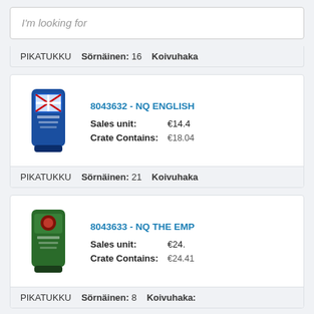I'm looking for
PIKATUKKU  Sörnäinen: 16  Koivuhaka
8043632 - NQ ENGLISH
Sales unit: €14.4
Crate Contains: €18.04
[Figure (photo): Blue bag of NQ English product]
PIKATUKKU  Sörnäinen: 21  Koivuhaka
8043633 - NQ THE EMP
Sales unit: €24.
Crate Contains: €24.41
[Figure (photo): Green bag of NQ The Emperor product]
PIKATUKKU  Sörnäinen: 8  Koivuhaka: